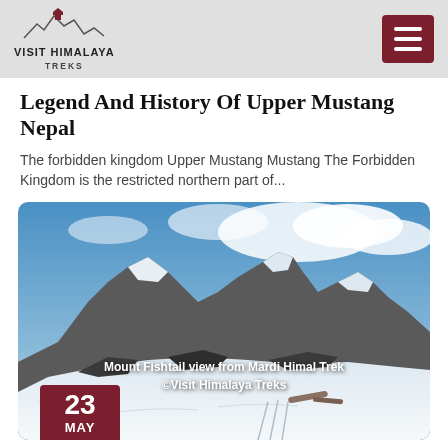VISIT HIMALAYA TREKS
Legend And History Of Upper Mustang Nepal
The forbidden kingdom Upper Mustang Mustang The Forbidden Kingdom is the restricted northern part of...
[Figure (photo): Snow-covered mountain peak (Mount Fishtail) viewed from Mardi Himal Trek, with blue sky and clouds above rocky, snow-covered slopes.]
Mount Fishtail view from Mardi Himal Trek ©Visit Himalaya Treks